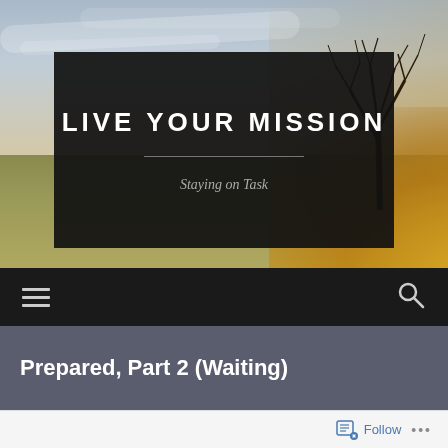[Figure (photo): Outdoor landscape photo showing a field at sunset with a bare tree silhouette on the right, cloudy sky above, serving as background for the blog header]
LIVE YOUR MISSION
Staying on Task
[Figure (other): Navigation bar with hamburger menu icon on left and search icon on right, on dark background]
Prepared, Part 2 (Waiting)
Follow